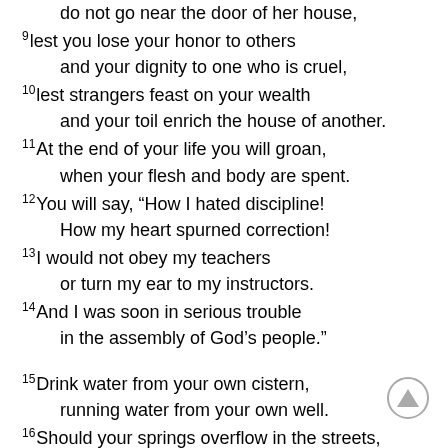Keep to a path far from her,
    do not go near the door of her house,
9 lest you lose your honor to others
    and your dignity to one who is cruel,
10 lest strangers feast on your wealth
    and your toil enrich the house of another.
11 At the end of your life you will groan,
    when your flesh and body are spent.
12 You will say, “How I hated discipline!
    How my heart spurned correction!
13 I would not obey my teachers
    or turn my ear to my instructors.
14 And I was soon in serious trouble
    in the assembly of God’s people.”
15 Drink water from your own cistern,
    running water from your own well.
16 Should your springs overflow in the streets,
[Figure (illustration): A circular scroll-to-top button with an upward-pointing triangle/arrow icon, located in the bottom-right corner of the page.]